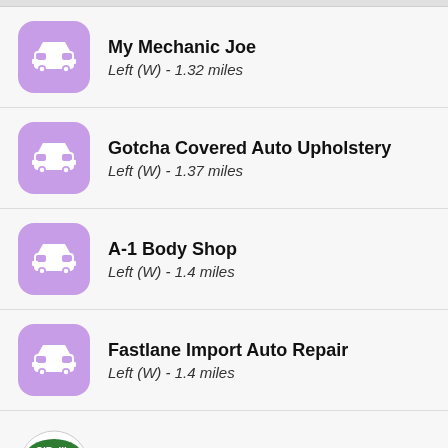My Mechanic Joe
Left (W) - 1.32 miles
Gotcha Covered Auto Upholstery
Left (W) - 1.37 miles
A-1 Body Shop
Left (W) - 1.4 miles
Fastlane Import Auto Repair
Left (W) - 1.4 miles
O'Reilly Auto Parts
Right (SE) - 1.43 miles